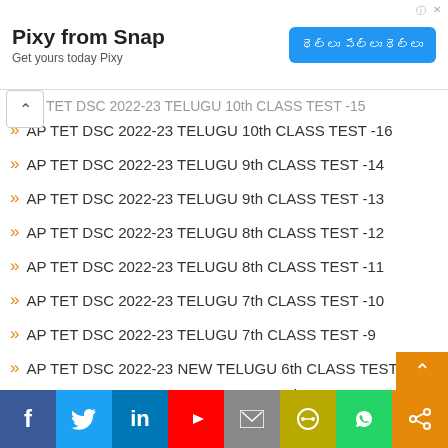[Figure (other): Advertisement banner: Pixy from Snap - Get yours today Pixy, with a blue button showing Telugu text]
AP TET DSC 2022-23 TELUGU 10th CLASS TEST -16
AP TET DSC 2022-23 TELUGU 9th CLASS TEST -14
AP TET DSC 2022-23 TELUGU 9th CLASS TEST -13
AP TET DSC 2022-23 TELUGU 8th CLASS TEST -12
AP TET DSC 2022-23 TELUGU 8th CLASS TEST -11
AP TET DSC 2022-23 TELUGU 7th CLASS TEST -10
AP TET DSC 2022-23 TELUGU 7th CLASS TEST -9
AP TET DSC 2022-23 NEW TELUGU 6th CLASS TEST -8
AP TET DSC 2022-23 NEW TELUGU 6th CLASS TEST -7
AP TET DSC 2022-23 NEW TELUGU 5th CLASS TEST -6
AP TET DSC 2022-23 NEW TELUGU 5th CLASS TEST -5
AP TET DSC 2022-23 NEW TELUGU 4th CLASS TEST
[Figure (other): Social media sharing bar with Facebook, Twitter, LinkedIn, YouTube, Email, Copy link, WhatsApp, Share buttons]